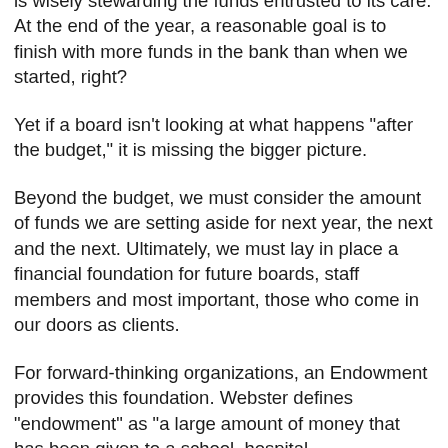monitor the budget and make sure the organization is wisely stewarding the funds entrusted to its care. At the end of the year, a reasonable goal is to finish with more funds in the bank than when we started, right?
Yet if a board isn't looking at what happens "after the budget," it is missing the bigger picture.
Beyond the budget, we must consider the amount of funds we are setting aside for next year, the next and the next. Ultimately, we must lay in place a financial foundation for future boards, staff members and most important, those who come in our doors as clients.
For forward-thinking organizations, an Endowment provides this foundation. Webster defines "endowment" as "a large amount of money that has been given to a school, hospital